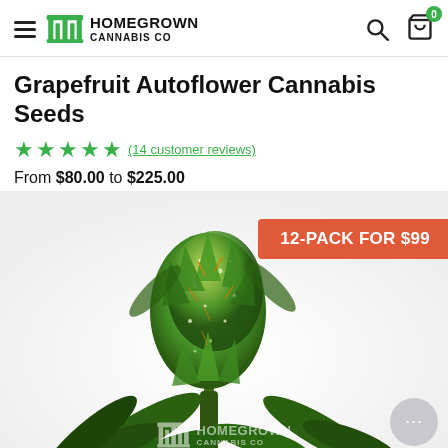Homegrown Cannabis Co — navigation header with logo, search, and cart (0 items)
Grapefruit Autoflower Cannabis Seeds
★★★★★ (14 customer reviews)
From $80.00 to $225.00
[Figure (photo): Close-up photo of a cannabis bud (Grapefruit Autoflower) on a white background with Homegrown Cannabis Co watermark logo. A coral/red promotional banner reads '12-PACK FOR $99' in the upper right area of the image. A chat button is in the lower right.]